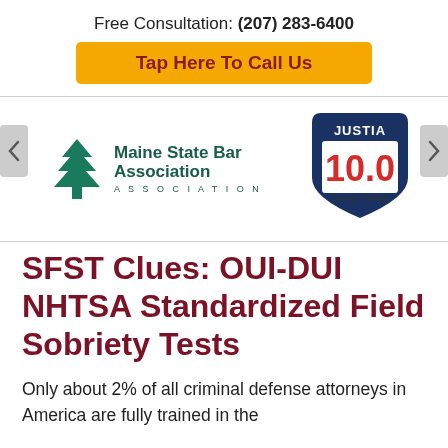Free Consultation: (207) 283-6400
Tap Here To Call Us
[Figure (logo): Maine State Bar Association logo with green triangle/tree icon and text]
[Figure (logo): Justia 10.0 Lawyer Rating badge shield in navy blue with red 10.0]
SFST Clues: OUI-DUI NHTSA Standardized Field Sobriety Tests
Only about 2% of all criminal defense attorneys in America are fully trained in the